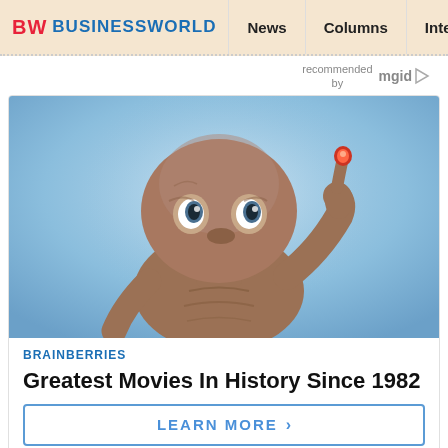BW BUSINESSWORLD | News | Columns | Interviews | BW
recommended by mgid
[Figure (photo): E.T. the Extra-Terrestrial character holding up one glowing finger against a blue background]
BRAINBERRIES
Greatest Movies In History Since 1982
LEARN MORE >